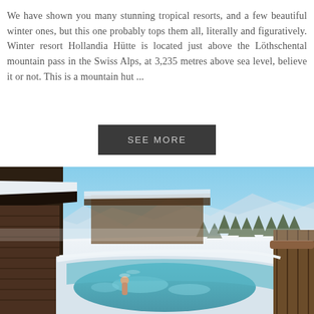We have shown you many stunning tropical resorts, and a few beautiful winter ones, but this one probably tops them all, literally and figuratively. Winter resort Hollandia Hütte is located just above the Löthschental mountain pass in the Swiss Alps, at 3,235 metres above sea level, believe it or not. This is a mountain hut ...
SEE MORE
[Figure (photo): Outdoor hot tub or jacuzzi covered with snow at a mountain resort, with a person in the pool. Snow-covered alpine landscape with pine trees and mountain peaks visible in the background under a blue sky. Wooden chalet structure visible on the left.]